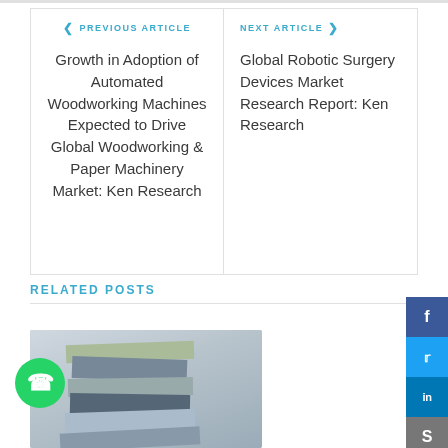< PREVIOUS ARTICLE
Growth in Adoption of Automated Woodworking Machines Expected to Drive Global Woodworking & Paper Machinery Market: Ken Research
NEXT ARTICLE >
Global Robotic Surgery Devices Market Research Report: Ken Research
RELATED POSTS
[Figure (photo): Stack of books photo used as thumbnail for related post]